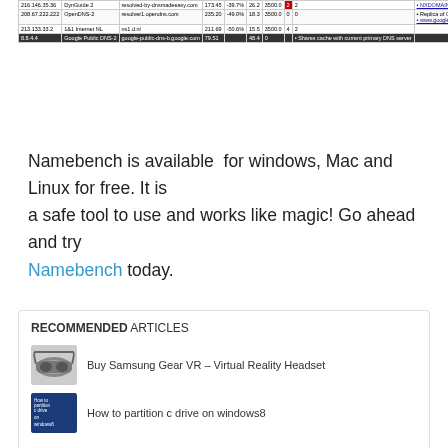| IP | Name | Hostname | Mean | % | Min | Max | ? | ? | Notes |
| --- | --- | --- | --- | --- | --- | --- | --- | --- | --- |
| 216.146.35.36 | DynGuide 2 | resolved-by-dnsmadeeasy.com | 173.45 | -39.7% | 26.2 | 3500.0 | 2 | 2 | NXDOMAIN Hijacking |
| 208.67.222.222 | OpenDNS-2 | resolver1.opendns.com | 235.20 | -49.0% | 18.3 | 3500.0 | 0 | 0 | Replica of OpenDNS-3 [208.67.222.220]
www.google.com is hijacked: google.navigation.opendns.com |
| 213.133.33.2 | 1&1 Internet NL | ns1.d.nl | 211.69 | -50.6% | 15.5 | 3500.0 | 4 | 2 |  |
| 8.8.4.4 | Google Public DNS-2 | google-public-dns-b.google.com | 79.51 |  | 48.4 | 0 |  | Shares cache with current primary DNS server |
Namebench is available for windows, Mac and Linux for free. It is a safe tool to use and works like magic! Go ahead and try Namebench today.
RECOMMENDED ARTICLES
Buy Samsung Gear VR – Virtual Reality Headset
How to partition c drive on windows8